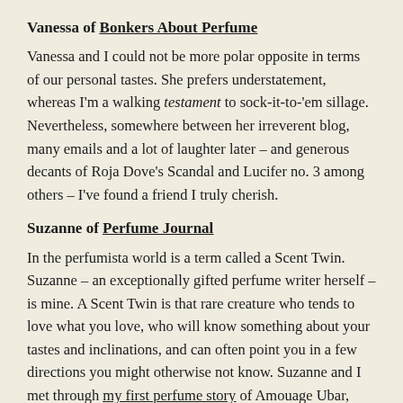Vanessa of Bonkers About Perfume
Vanessa and I could not be more polar opposite in terms of our personal tastes. She prefers understatement, whereas I'm a walking testament to sock-it-to-'em sillage. Nevertheless, somewhere between her irreverent blog, many emails and a lot of laughter later – and generous decants of Roja Dove's Scandal and Lucifer no. 3 among others – I've found a friend I truly cherish.
Suzanne of Perfume Journal
In the perfumista world is a term called a Scent Twin. Suzanne – an exceptionally gifted perfume writer herself – is mine. A Scent Twin is that rare creature who tends to love what you love, who will know something about your tastes and inclinations, and can often point you in a few directions you might otherwise not know. Suzanne and I met through my first perfume story of Amouage Ubar, whereupon she sent me a decant for my birthday. Since then, she has introduced me to many other wonders, and since then, she's become not just a scent twin but also a soul sister. We've cheered each other up and made each other laugh and